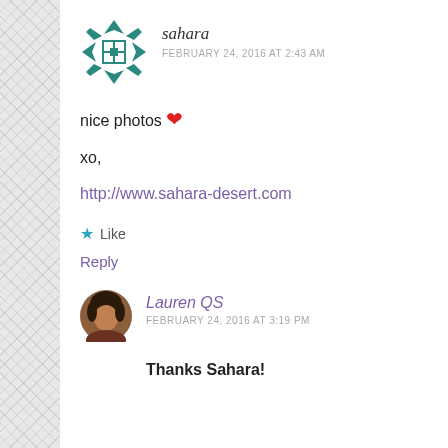[Figure (illustration): Teal geometric/quilt-pattern avatar icon for user 'sahara']
sahara
FEBRUARY 24, 2016 AT 2:43 AM
nice photos ❤
xo,
http://www.sahara-desert.com
★ Like
Reply
[Figure (photo): Circular profile photo of Lauren QS - woman with dark hair]
Lauren QS
FEBRUARY 24, 2016 AT 3:19 PM
Thanks Sahara!